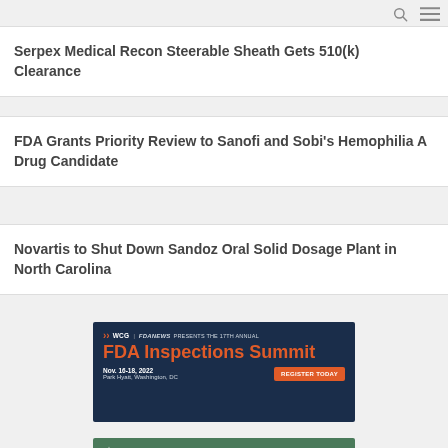Serpex Medical Recon Steerable Sheath Gets 510(k) Clearance
FDA Grants Priority Review to Sanofi and Sobi's Hemophilia A Drug Candidate
Novartis to Shut Down Sandoz Oral Solid Dosage Plant in North Carolina
[Figure (infographic): WCG FDANews advertisement banner for the 17th Annual FDA Inspections Summit, Nov. 16-18, 2022, Park Hyatt, Washington, DC. Dark navy background with orange text and a Register Today button.]
[Figure (infographic): Veristat advertisement banner with green background showing logo and text 'Successful Marketing Application'.]